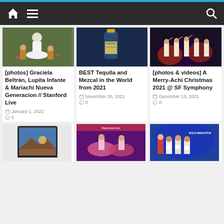Navigation bar with home, menu, and search icons
[Figure (photo): Woman in white dress with children in traditional Mexican costume outdoors]
[photos] Graciela Beltrán, Lupita Infante & Mariachi Nueva Generacion // Stanford Live
January 1, 2022  0
[Figure (photo): Blue tequila bottle product shot]
BEST Tequila and Mezcal in the World from 2021
November 28, 2021  0
[Figure (photo): Mariachi musicians performing on stage with colorful lighting]
[photos & videos] A Merry-Achi Christmas 2021 @ SF Symphony
December 13, 2021  0
[Figure (photo): Tablet device with mountain landscape screen]
[Figure (photo): Colorful Folkloric dancers in pink costumes with event text]
[Figure (photo): Group of women on stage at Bold Innovators award ceremony]